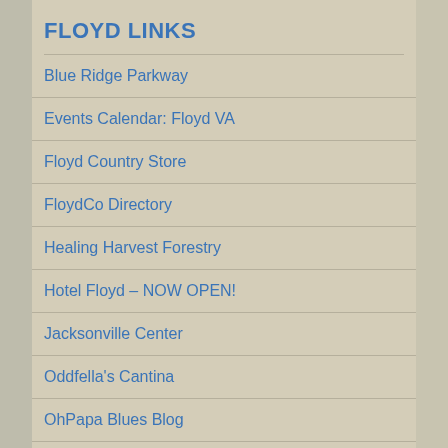FLOYD LINKS
Blue Ridge Parkway
Events Calendar: Floyd VA
Floyd Country Store
FloydCo Directory
Healing Harvest Forestry
Hotel Floyd – NOW OPEN!
Jacksonville Center
Oddfella's Cantina
OhPapa Blues Blog
Red Rooster Roaster
Roundafter Bl…